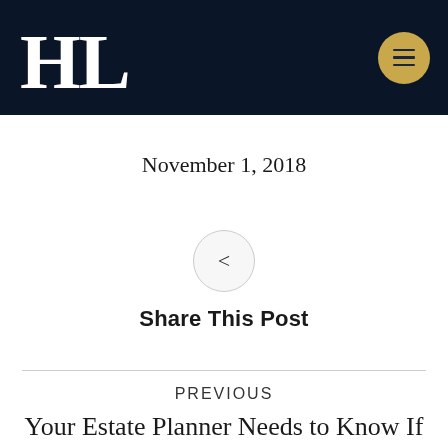HL
November 1, 2018
[Figure (other): Share This Post button with share icon inside a circle]
Share This Post
PREVIOUS
Your Estate Planner Needs to Know If You've Lent Money to Family